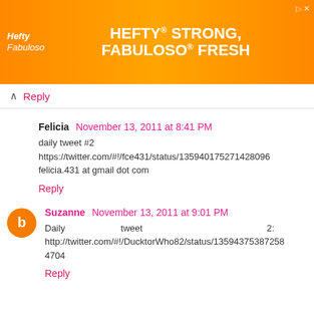[Figure (photo): Hefty advertisement banner: orange background with Hefty and Fabuloso logos, text 'HEFTY STRONG, FABULOSO FRESH']
↑ Reply
Felicia  November 13, 2011 at 8:41 PM
daily tweet #2
https://twitter.com/#!/fce431/status/135940175271428096
felicia.431 at gmail dot com
Reply
Suzanne  November 13, 2011 at 9:01 PM
Daily tweet 2:
http://twitter.com/#!/DucktorWho82/status/1359437538725884704
Reply